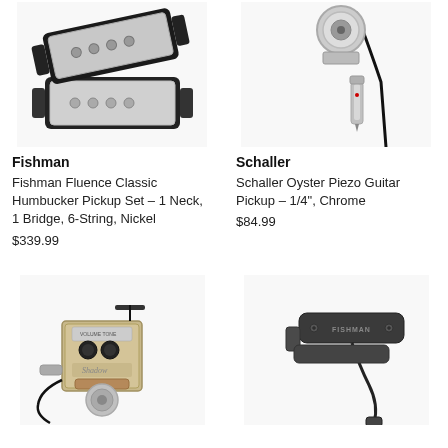[Figure (photo): Fishman Fluence Classic Humbucker Pickup Set - nickel/chrome colored humbucker pickups]
[Figure (photo): Schaller Oyster Piezo Guitar Pickup - 1/4 inch chrome pickup with cable and jack connector]
Fishman
Fishman Fluence Classic Humbucker Pickup Set - 1 Neck, 1 Bridge, 6-String, Nickel
$339.99
Schaller
Schaller Oyster Piezo Guitar Pickup - 1/4", Chrome
$84.99
[Figure (photo): Shadow guitar pickup device with volume/tone knobs, metallic body, cork grip and cable]
[Figure (photo): Fishman soundhole pickup, dark gray/black rectangular body with cable and connector]